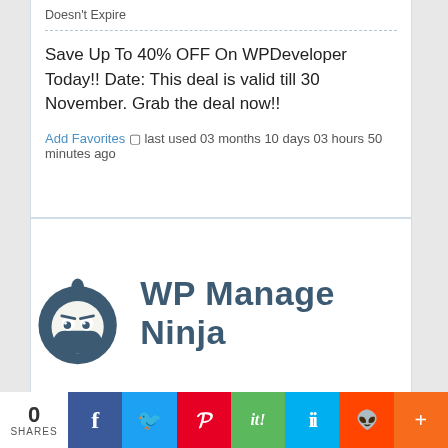Doesn't Expire
Save Up To 40% OFF On WPDeveloper Today!! Date: This deal is valid till 30 November. Grab the deal now!!
Add Favorites ◻ last used 03 months 10 days 03 hours 50 minutes ago
[Figure (logo): WP Manage Ninja logo — ninja mascot icon on the left, bold text 'WP Manage Ninja' on the right in dark blue-grey]
0 SHARES